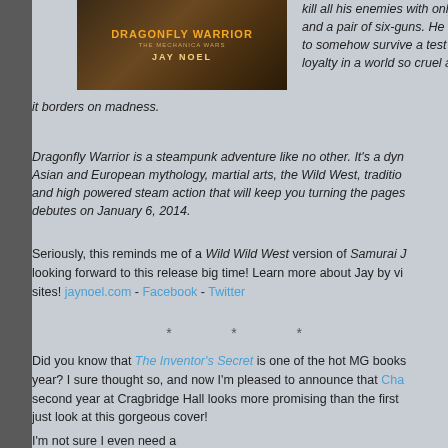[Figure (illustration): Book cover for Dragonfly Warrior by Jay Noel, with dark brown background and orange/gold title text]
kill all his enemies with only and a pair of six-guns. He is to somehow survive a test o loyalty in a world so cruel a it borders on madness.
Dragonfly Warrior is a steampunk adventure like no other. It's a dy Asian and European mythology, martial arts, the Wild West, traditio and high powered steam action that will keep you turning the pages debutes on January 6, 2014.
Seriously, this reminds me of a Wild Wild West version of Samurai J looking forward to this release big time! Learn more about Jay by vi sites! jaynoel.com - Facebook - Twitter
* * *
Did you know that The Inventor's Secret is one of the hot MG books year? I sure thought so, and now I'm pleased to announce that Cha second year at Cragbridge Hall looks more promising than the first just look at this gorgeous cover!
I'm not sure I even need a